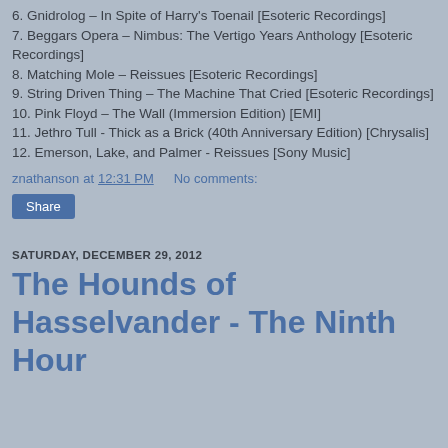6. Gnidrolog – In Spite of Harry's Toenail [Esoteric Recordings]
7. Beggars Opera – Nimbus: The Vertigo Years Anthology [Esoteric Recordings]
8. Matching Mole – Reissues [Esoteric Recordings]
9. String Driven Thing – The Machine That Cried [Esoteric Recordings]
10. Pink Floyd – The Wall (Immersion Edition) [EMI]
11. Jethro Tull - Thick as a Brick (40th Anniversary Edition) [Chrysalis]
12. Emerson, Lake, and Palmer - Reissues [Sony Music]
znathanson at 12:31 PM   No comments:
Share
SATURDAY, DECEMBER 29, 2012
The Hounds of Hasselvander - The Ninth Hour